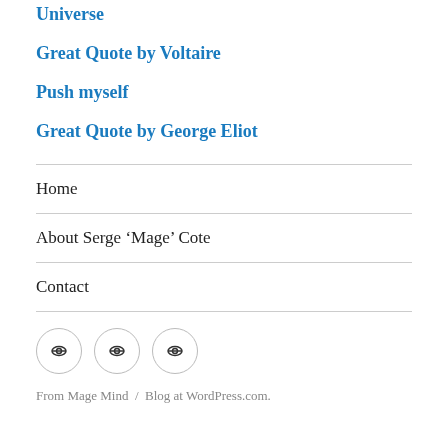Universe
Great Quote by Voltaire
Push myself
Great Quote by George Eliot
Home
About Serge ‘Mage’ Cote
Contact
[Figure (other): Three circular social media icon buttons in a row]
From Mage Mind / Blog at WordPress.com.